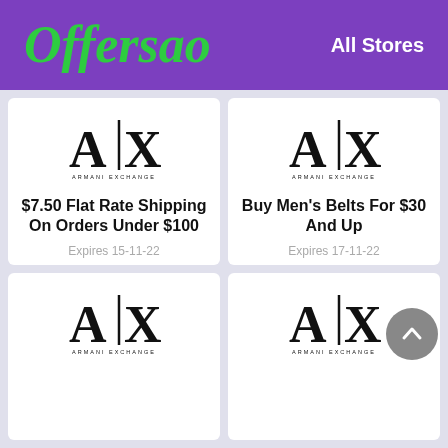Offersao   All Stores
[Figure (logo): A|X Armani Exchange logo]
$7.50 Flat Rate Shipping On Orders Under $100
Expires 15-11-22
Get Deal
[Figure (logo): A|X Armani Exchange logo]
Buy Men's Belts For $30 And Up
Expires 17-11-22
Get Deal
[Figure (logo): A|X Armani Exchange logo]
[Figure (logo): A|X Armani Exchange logo]